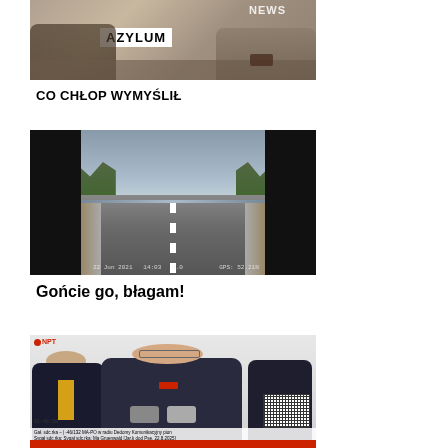[Figure (screenshot): News thumbnail with text overlay 'AZYLUM' on white box, persons seated at table, NEWS logo visible in top right]
CO CHŁOP WYMYŚLIŁ
[Figure (screenshot): Dashcam footage of an empty highway road with trees on sides, black sidebars, timestamp visible]
Gońcie go, błagam!
[Figure (screenshot): Polish TV news press conference with three men in suits, NPT logo visible, microphones, ticker bar at bottom, QR code]